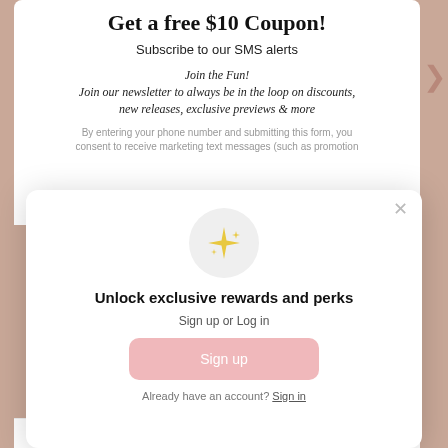Get a free $10 Coupon!
Subscribe to our SMS alerts
Join the Fun!
Join our newsletter to always be in the loop on discounts, new releases, exclusive previews & more
By entering your phone number and submitting this form, you consent to receive marketing text messages (such as promotion
[Figure (illustration): Sparkle/star emoji icon inside a light grey circle]
Unlock exclusive rewards and perks
Sign up or Log in
Sign up
Already have an account? Sign in
Phone Number